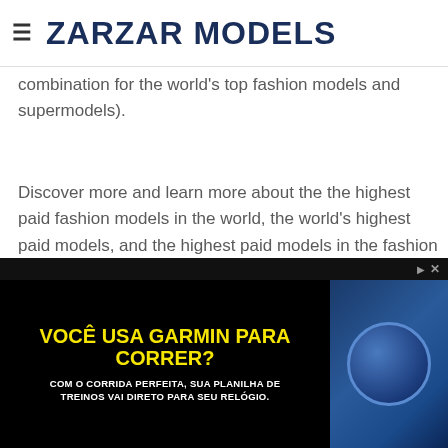ZARZAR MODELS
fashion modeling (this is because brains and beauty ca…
combination for the world's top fashion models and supermodels).
Discover more and learn more about the the highest paid fashion models in the world, the world's highest paid models, and the highest paid models in the fashion modeling industry at: https://money.zarzarmodels.com.
Related Posts:
[Figure (photo): Thumbnail images of related posts]
[Figure (photo): Advertisement banner: VOCÊ USA GARMIN PARA CORRER? COM O CORRIDA PERFEITA, SUA PLANILHA DE TREINOS VAI DIRETO PARA SEU RELÓGIO.]